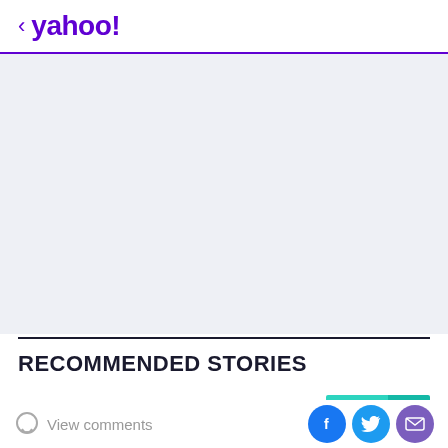< yahoo!
[Figure (other): Gray advertisement placeholder area with light blue-gray background]
RECOMMENDED STORIES
Yahoo Life Shopping
View comments